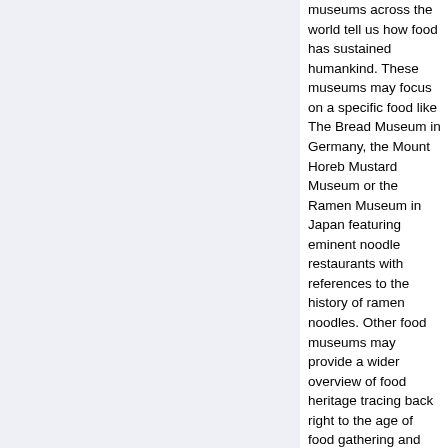museums across the world tell us how food has sustained humankind. These museums may focus on a specific food like The Bread Museum in Germany, the Mount Horeb Mustard Museum or the Ramen Museum in Japan featuring eminent noodle restaurants with references to the history of ramen noodles. Other food museums may provide a wider overview of food heritage tracing back right to the age of food gathering and going on to narrate how and what the world eats. One such museum is the Agropolis Museum in France describing the global story of people, food and agriculture. It houses mini-exhibits of the world's fruits and vegetables, farmers from different countries and food and drink preparations ranging from the tea ceremony in Japan, pasta